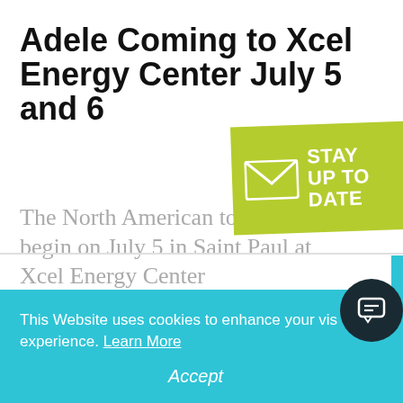Adele Coming to Xcel Energy Center July 5 and 6
The North American tour begin on July 5 in Saint Paul at Xcel Energy Center
[Figure (infographic): Green angled banner with white envelope icon and text: STAY UP TO DATE]
This Website uses cookies to enhance your visitor experience. Learn More
Accept